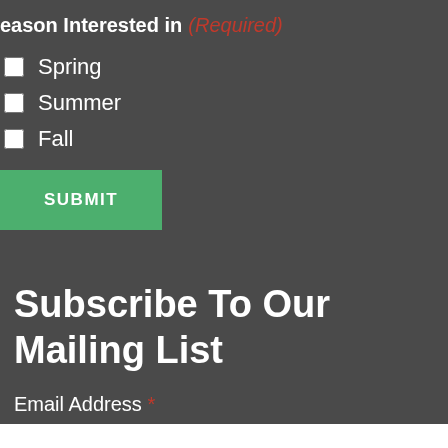Season Interested in (Required)
Spring
Summer
Fall
SUBMIT
Subscribe To Our Mailing List
Email Address *